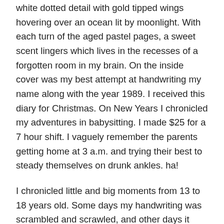white dotted detail with gold tipped wings hovering over an ocean lit by moonlight. With each turn of the aged pastel pages, a sweet scent lingers which lives in the recesses of a forgotten room in my brain. On the inside cover was my best attempt at handwriting my name along with the year 1989. I received this diary for Christmas. On New Years I chronicled my adventures in babysitting. I made $25 for a 7 hour shift. I vaguely remember the parents getting home at 3 a.m. and trying their best to steady themselves on drunk ankles. ha!
I chronicled little and big moments from 13 to 18 years old. Some days my handwriting was scrambled and scrawled, and other days it was intentional with pretty cursive. The margins were filled with doodles and drawings. Hearts followed by broken hearts.
As I read some of my more life altering entries, I felt